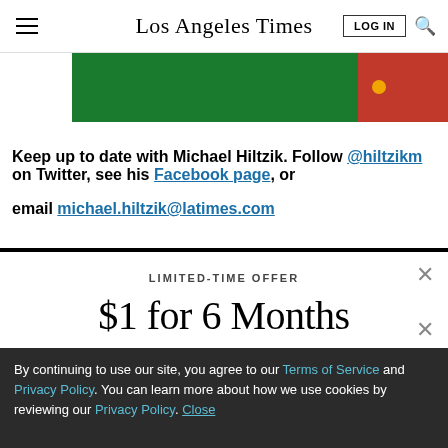Los Angeles Times
[Figure (illustration): Green and red advertisement banner with an orange dot]
Keep up to date with Michael Hiltzik. Follow @hiltzikm on Twitter, see his Facebook page, or email michael.hiltzik@latimes.com
LIMITED-TIME OFFER
$1 for 6 Months
SUBSCRIBE NOW
By continuing to use our site, you agree to our Terms of Service and Privacy Policy. You can learn more about how we use cookies by reviewing our Privacy Policy. Close